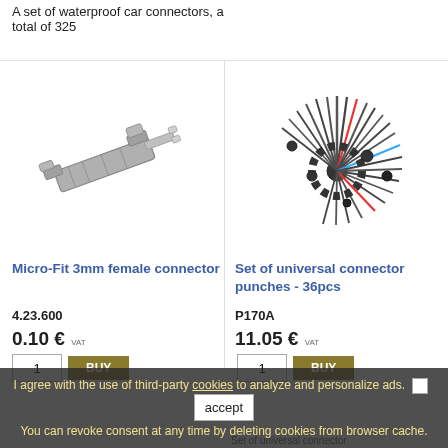A set of waterproof car connectors, a total of 325
[Figure (photo): Micro-Fit 3mm female connector, a small metallic crimp terminal]
Micro-Fit 3mm female connector
4.23.600
0.10 € VAT
[Figure (photo): Set of universal connector punches - 36pcs, a fan-like arrangement of pin removal tools]
Set of universal connector punches - 36pcs
P170A
11.05 € VAT
I agree with the use of third-party cookies to analyze and personalize ads. You can revoke consent at any time by deleting cookies from browser cache.
Set of universal connector